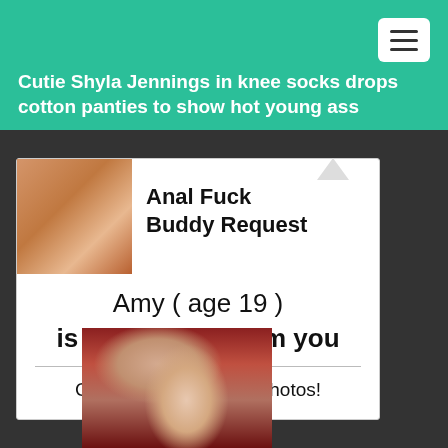Cutie Shyla Jennings in knee socks drops cotton panties to show hot young ass
[Figure (infographic): Advertisement banner: image on left side, speech bubble area with text 'Anal Fuck Buddy Request', body text 'Amy ( age 19 ) is 13 minutes from you', divider line, and CTA 'CLICK HERE to view photos!']
[Figure (photo): Partial photo of two people in an intimate setting, showing upper body of a man and a woman in background]